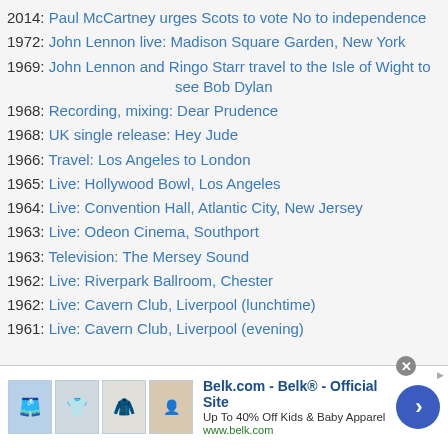2014: Paul McCartney urges Scots to vote No to independence
1972: John Lennon live: Madison Square Garden, New York
1969: John Lennon and Ringo Starr travel to the Isle of Wight to see Bob Dylan
1968: Recording, mixing: Dear Prudence
1968: UK single release: Hey Jude
1966: Travel: Los Angeles to London
1965: Live: Hollywood Bowl, Los Angeles
1964: Live: Convention Hall, Atlantic City, New Jersey
1963: Live: Odeon Cinema, Southport
1963: Television: The Mersey Sound
1962: Live: Riverpark Ballroom, Chester
1962: Live: Cavern Club, Liverpool (lunchtime)
1961: Live: Cavern Club, Liverpool (evening)
[Figure (infographic): Advertisement banner for Belk.com showing clothing images, ad title 'Belk.com - Belk® - Official Site', subtitle 'Up To 40% Off Kids & Baby Apparel', URL 'www.belk.com', close button, and a blue circular next arrow button.]